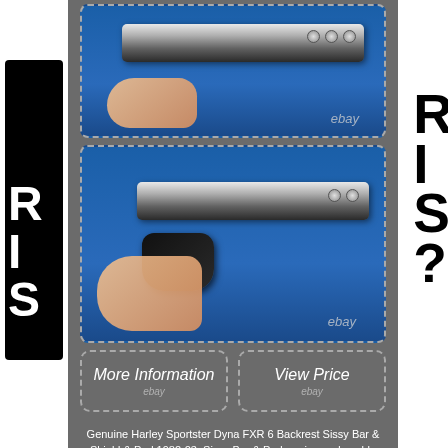[Figure (photo): Top photo: close-up of a chrome Harley Sissy Bar mount/bracket held by a hand against a blue background, with ebay watermark]
[Figure (photo): Bottom photo: Harley Sissy Bar with black leather pad held by a hand against a blue background, with ebay watermark]
[Figure (infographic): Two eBay listing buttons: 'More Information' and 'View Price', both with dashed borders and ebay watermarks]
Genuine Harley Sportster Dyna FXR 6 Backrest Sissy Bar & Shield & Pad 1982-03. Sissy Bar & Pad are in good usable condition with signs of wear consistent with normal use and age. The outer measurement of the uprights is 6-3/4.